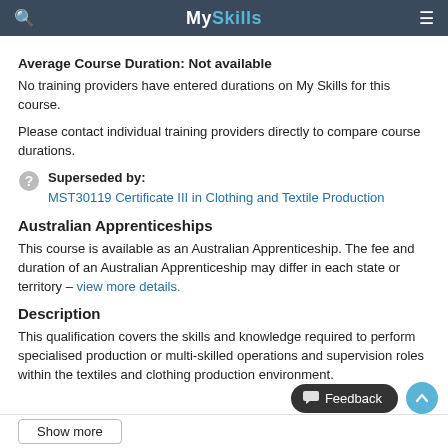MySkills
Average Course Duration: Not available
No training providers have entered durations on My Skills for this course.
Please contact individual training providers directly to compare course durations.
Superseded by: MST30119 Certificate III in Clothing and Textile Production
Australian Apprenticeships
This course is available as an Australian Apprenticeship. The fee and duration of an Australian Apprenticeship may differ in each state or territory – view more details.
Description
This qualification covers the skills and knowledge required to perform specialised production or multi-skilled operations and supervision roles within the textiles and clothing production environment.